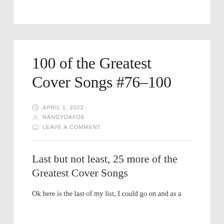100 of the Greatest Cover Songs #76–100
APRIL 1, 2022
RANDYDAFOE
LEAVE A COMMENT
Last but not least, 25 more of the Greatest Cover Songs
Ok here is the last of my list, I could go on and as a